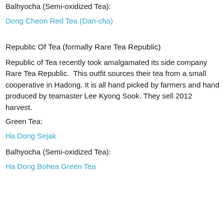Balhyocha (Semi-oxidized Tea):
Dong Cheon Red Tea (Dan-cha)
Republic Of Tea (formally Rare Tea Republic)
Republic of Tea recently took amalgamated its side company Rare Tea Republic.  This outfit sources their tea from a small cooperative in Hadong. It is all hand picked by farmers and hand produced by teamaster Lee Kyong Sook. They sell 2012 harvest.
Green Tea:
Ha Dong Sejak
Balhyocha (Semi-oxidized Tea):
Ha Dong Bohea Green Tea